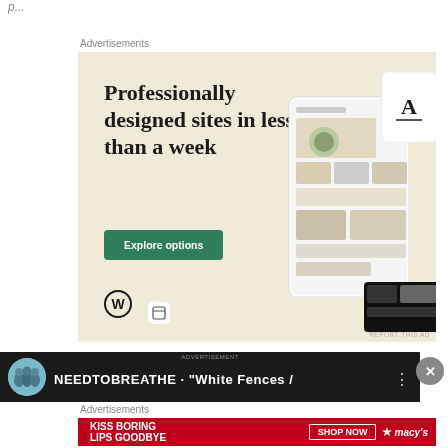p...
Advertisements
[Figure (illustration): WordPress.com ad: 'Professionally designed sites in less than a week' with Explore options button, WordPress logo, and website mockup screenshots on beige background]
REPORT THIS AD
[Figure (illustration): Music player bar showing NEEDTOBREATHE - White Fences / ... on dark background with circular avatar]
Advertisements
[Figure (illustration): Macy's ad: KISS BORING LIPS GOODBYE with red background, woman's lips, SHOP NOW button and Macy's star logo]